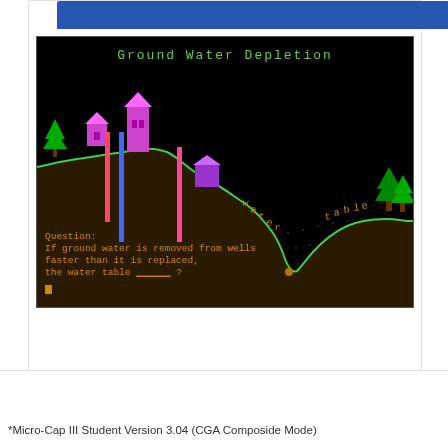[Figure (screenshot): CGA-era educational software screenshot showing 'Ground Water Depletion' simulation. Black background with green terrain line, purple buildings/houses, colored well shafts, trees, and text reading 'Question: If ground water is removed from wells faster than it is replaced, the water table _____ ?'. The words 'water table' appear diagonally across the ground. Title 'Ground Water Depletion' in green text at top.]
ibmpc5150
August 2021    edited August 2021
*Micro-Cap III Student Version 3.04 (CGA Composide Mode)